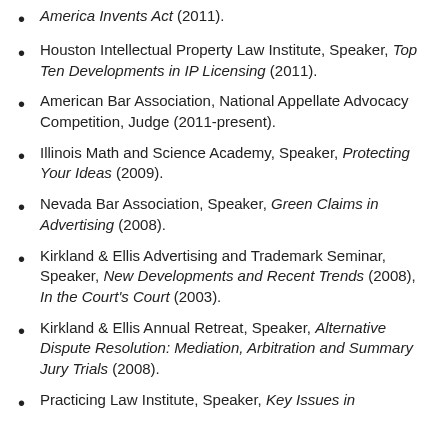America Invents Act (2011).
Houston Intellectual Property Law Institute, Speaker, Top Ten Developments in IP Licensing (2011).
American Bar Association, National Appellate Advocacy Competition, Judge (2011-present).
Illinois Math and Science Academy, Speaker, Protecting Your Ideas (2009).
Nevada Bar Association, Speaker, Green Claims in Advertising (2008).
Kirkland & Ellis Advertising and Trademark Seminar, Speaker, New Developments and Recent Trends (2008), In the Court's Court (2003).
Kirkland & Ellis Annual Retreat, Speaker, Alternative Dispute Resolution: Mediation, Arbitration and Summary Jury Trials (2008).
Practicing Law Institute, Speaker, Key Issues in (truncated)